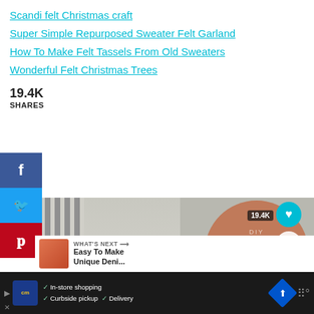Scandi felt Christmas craft
Super Simple Repurposed Sweater Felt Garland
How To Make Felt Tassels From Old Sweaters
Wonderful Felt Christmas Trees
19.4K SHARES
[Figure (screenshot): Social media share buttons: Facebook (blue), Twitter (blue), Pinterest (red) on left sidebar]
[Figure (photo): DIY Scandi Felt Forest craft image with striped background and terracotta circle overlay showing cursive text 'DIY Scandi Felt Forest'. Overlays include heart button, 19.4K share count, share action button, and What's Next bar showing 'Easy To Make Unique Deni...']
[Figure (screenshot): Advertisement bar at bottom: CM logo, In-store shopping, Curbside pickup, Delivery checkmarks, navigation icon]